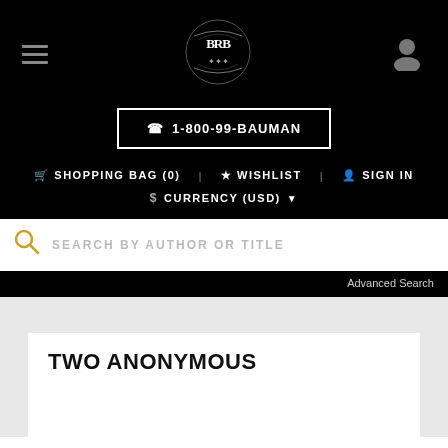[Figure (logo): BRB ornate monogram logo in white on black background]
☎ 1-800-99-BAUMAN
🛒 SHOPPING BAG (0)  ★ WISHLIST  👤 SIGN IN
$ CURRENCY (USD) ▼
SEARCH BY AUTHOR OR TITLE
Advanced Search
TWO ANONYMOUS